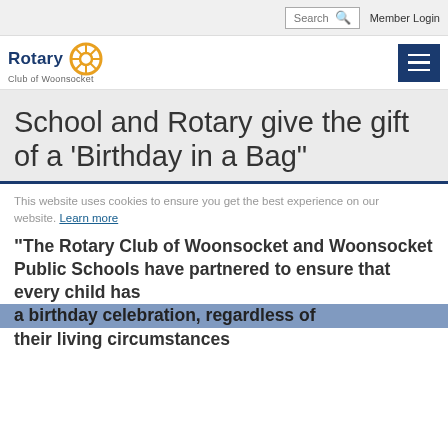Search | Member Login
[Figure (logo): Rotary Club of Woonsocket logo with rotary wheel emblem]
School and Rotary give the gift of a 'Birthday in a Bag"
This website uses cookies to ensure you get the best experience on our website. Learn more
"The Rotary Club of Woonsocket and Woonsocket Public Schools have partnered to ensure that every child has a birthday celebration, regardless of their living circumstances